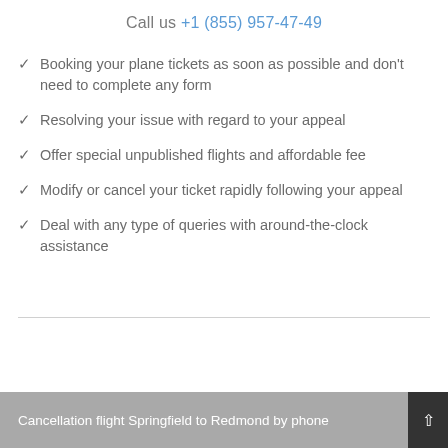Call us +1 (855) 957-47-49
✓ Booking your plane tickets as soon as possible and don't need to complete any form
✓ Resolving your issue with regard to your appeal
✓ Offer special unpublished flights and affordable fee
✓ Modify or cancel your ticket rapidly following your appeal
✓ Deal with any type of queries with around-the-clock assistance
Cancellation flight Springfield to Redmond by phone